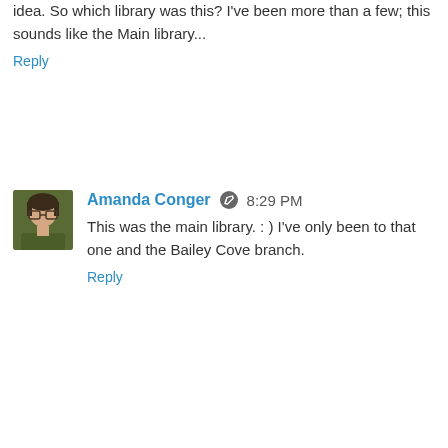idea. So which library was this? I've been more than a few; this sounds like the Main library...
Reply
Amanda Conger  8:29 PM
This was the main library. : ) I've only been to that one and the Bailey Cove branch.
Reply